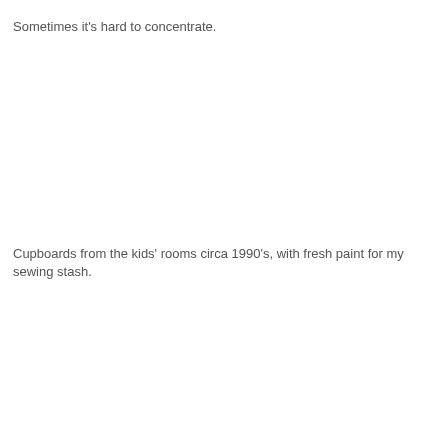Sometimes it's hard to concentrate.
Cupboards from the kids' rooms circa 1990's, with fresh paint for my sewing stash.